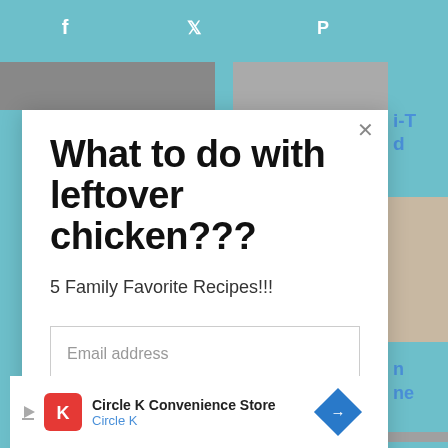Social share bar with Facebook, Twitter, Pinterest icons
[Figure (screenshot): Website screenshot showing a modal popup with email subscription form over a food blog page]
What to do with leftover chicken???
5 Family Favorite Recipes!!!
Email address
Subscribe
Circle K Convenience Store
Circle K